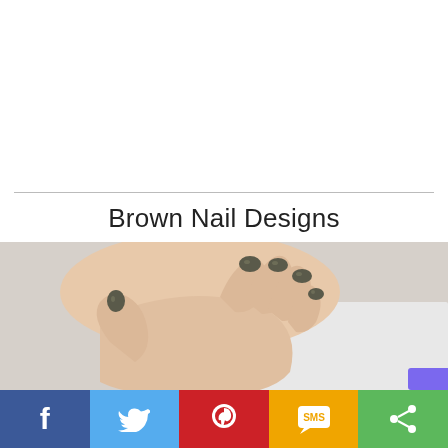Brown Nail Designs
[Figure (photo): Close-up photo of a hand with dark brown/olive nail polish on rounded nails, resting against a light grey background]
Facebook share | Twitter share | Pinterest share | SMS share | Share